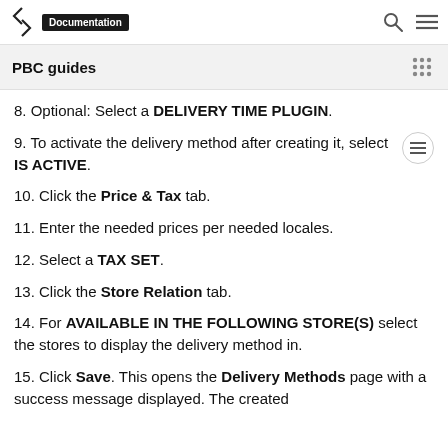Documentation
PBC guides
8. Optional: Select a DELIVERY TIME PLUGIN.
9. To activate the delivery method after creating it, select IS ACTIVE.
10. Click the Price & Tax tab.
11. Enter the needed prices per needed locales.
12. Select a TAX SET.
13. Click the Store Relation tab.
14. For AVAILABLE IN THE FOLLOWING STORE(S) select the stores to display the delivery method in.
15. Click Save. This opens the Delivery Methods page with a success message displayed. The created